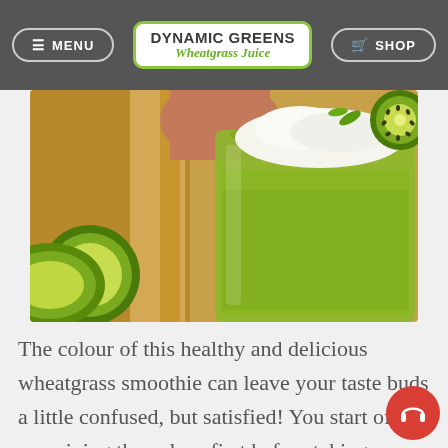MENU | DYNAMIC GREENS Wheatgrass Juice | SHOP
[Figure (photo): Green kiwi smoothie in a glass with whipped cream and kiwi garnish, surrounded by kiwi fruit and other juice glasses]
The colour of this healthy and delicious wheatgrass smoothie can leave your taste buds a little confused, but satisfied! You start off examining the colour first before taking a refreshing gulp of tasty berries exploding on your palate. As the taste of berries lingers in background, you get the citrus flavour of